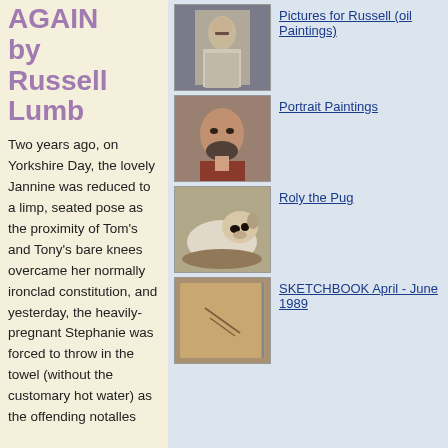AGAIN by Russell Lumb
Two years ago, on Yorkshire Day, the lovely Jannine was reduced to a limp, seated pose as the proximity of Tom's and Tony's bare knees overcame her normally ironclad constitution, and yesterday, the heavily-pregnant Stephanie was forced to throw in the towel (without the customary hot water) as the offending notalles...
[Figure (photo): Portrait photograph of a man with mustache in light jacket]
Pictures for Russell (oil Paintings)
[Figure (photo): Portrait painting of a man with beard]
Portrait Paintings
[Figure (photo): Photo of a pug dog lying down]
Roly the Pug
[Figure (photo): Photo of an old sketchbook cover]
SKETCHBOOK April - June 1989